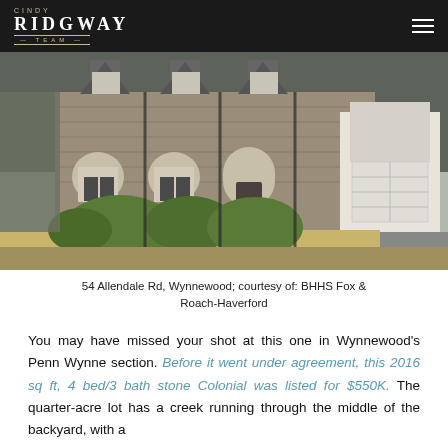CINDY RIDGWAY TEAM
[Figure (photo): Exterior photo of a stone Colonial house at 54 Allendale Rd, Wynnewood, with arched windows, green shrubbery in front, and an attached garage on the right side.]
54 Allendale Rd, Wynnewood; courtesy of: BHHS Fox & Roach-Haverford
You may have missed your shot at this one in Wynnewood's Penn Wynne section. Before it went under agreement, this 2016 sq ft, 4 bed/3 bath stone Colonial was listed for $550K. The quarter-acre lot has a creek running through the middle of the backyard, with a